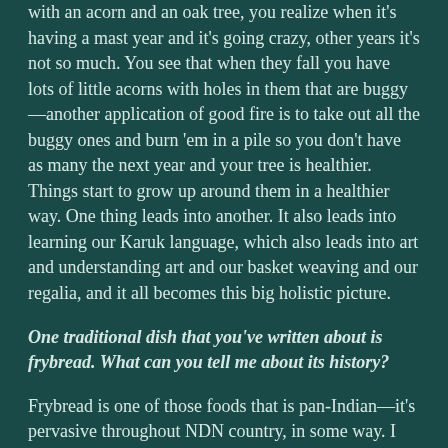with an acorn and an oak tree, you realize when it's having a mast year and it's going crazy, other years it's not so much. You see that when they fall you have lots of little acorns with holes in them that are buggy—another application of good fire is to take out all the buggy ones and burn 'em in a pile so you don't have as many the next year and your tree is healthier. Things start to grow up around them in a healthier way. One thing leads into another. It also leads into learning our Karuk language, which also leads into art and understanding art and our basket weaving and our regalia, and it all becomes this big holistic picture.
One traditional dish that you've written about is frybread. What can you tell me about its history?
Frybread is one of those foods that is pan-Indian—it's pervasive throughout NDN country, in some way. I